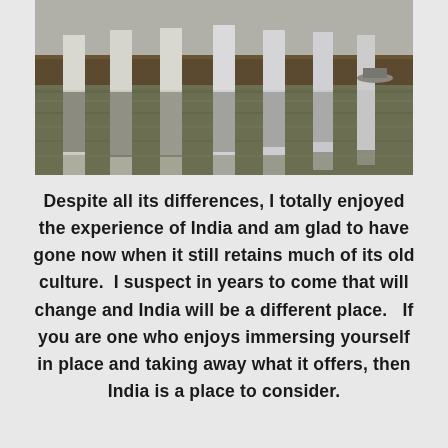[Figure (photo): A photograph of a wooden pier or dock structure with tall white pillars reflected in murky greenish-brown water. A small boat is visible in the background on the right.]
Despite all its differences, I totally enjoyed the experience of India and am glad to have gone now when it still retains much of its old culture.  I suspect in years to come that will change and India will be a different place.   If you are one who enjoys immersing yourself in place and taking away what it offers, then India is a place to consider.